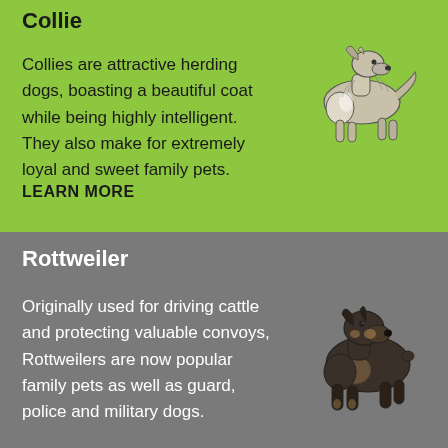Collie
Collies are attractive herding dogs, boasting a beautiful coat while being highly intelligent. They also make for extremely loyal and sweet family pets.
LEARN MORE
[Figure (illustration): Pencil sketch illustration of a Collie dog standing in profile]
Rottweiler
Originally used for driving cattle and protecting valuable convoys, Rottweilers are now popular family pets as well as guard, police and military dogs.
[Figure (illustration): Pencil sketch illustration of a Rottweiler dog standing in profile]